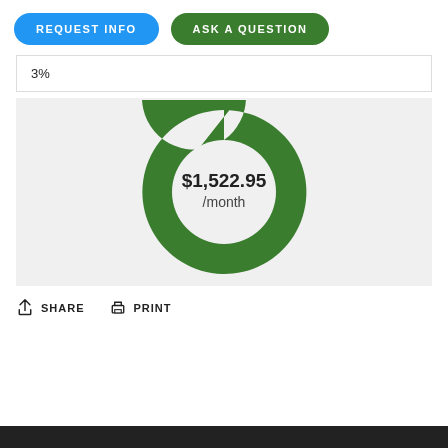REQUEST INFO
ASK A QUESTION
3%
[Figure (donut-chart): $1,522.95 /month]
SHARE
PRINT